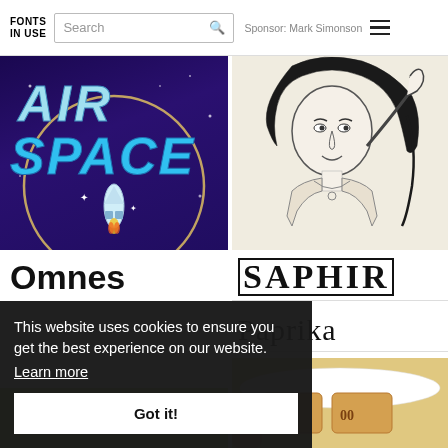FONTS IN USE | Search | Sponsor: Mark Simonson
[Figure (illustration): Air Space graphic with rocket illustration on purple/blue background]
[Figure (illustration): Ink sketch of a woman with hand raised to forehead]
Omnes
SAPHIR
Paprika
TONIGHT
[Figure (photo): Cookies/baked goods with decorative icing on a doily]
This website uses cookies to ensure you get the best experience on our website. Learn more
Got it!